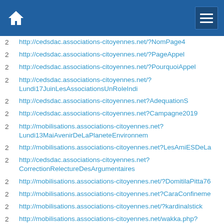Navigation header with home icon and hamburger menu
2  http://cedsdac.associations-citoyennes.net/?NomPage4
2  http://cedsdac.associations-citoyennes.net/?PageAppel
2  http://cedsdac.associations-citoyennes.net/?PourquoiAppel
2  http://cedsdac.associations-citoyennes.net/?Lundi17JuinLesAssociationsUnRoleIndi
2  http://cedsdac.associations-citoyennes.net?AdequationS
2  http://cedsdac.associations-citoyennes.net?Campagne2019
2  http://mobilisations.associations-citoyennes.net?Lundi13MaiAvenirDeLaPlaneteEnvironnem
2  http://mobilisations.associations-citoyennes.net?LesAmiESDeLa
2  http://cedsdac.associations-citoyennes.net?CorrectionRelectureDesArgumentaires
2  http://mobilisations.associations-citoyennes.net/?DomitilaPitta76
2  http://mobilisations.associations-citoyennes.net?CaraConfineme
2  http://mobilisations.associations-citoyennes.net/?kardinalstick
2  http://mobilisations.associations-citoyennes.net/wakka.php?wiki=DiamondBaerman96896
2  http://mobilisations.associations-citoyennes.net?Lundi3JuinLesAssociationsUnRoleIndis
2  http://cedsdac.associations-citoyennes.net?TableauDeBord&peri